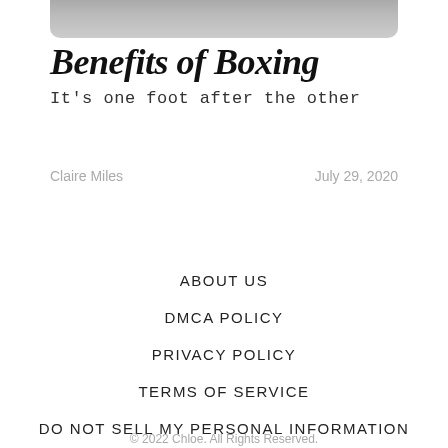[Figure (photo): Partial photo strip at the top of the page showing what appears to be a person, cropped]
Benefits of Boxing
It's one foot after the other
Claire Miles
July 29, 2020
ABOUT US
DMCA POLICY
PRIVACY POLICY
TERMS OF SERVICE
DO NOT SELL MY PERSONAL INFORMATION
© 2022 Chloe. All Rights Reserved.